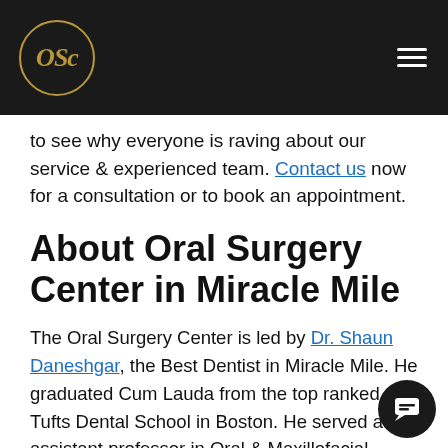OSC logo and navigation menu
to see why everyone is raving about our service & experienced team. Contact us now for a consultation or to book an appointment.
About Oral Surgery Center in Miracle Mile
The Oral Surgery Center is led by Dr. Shaun Daneshgar, the Best Dentist in Miracle Mile. He graduated Cum Lauda from the top ranked Tufts Dental School in Boston. He served as assistant professor in Oral & Maxillofacial Surgery at Columbia University and is currently